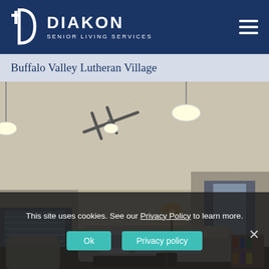DIAKON SENIOR LIVING SERVICES
Buffalo Valley Lutheran Village
[Figure (photo): Interior photo of a bright living room with vaulted ceiling, ceiling fan, pendant lights, gray sofa with decorative pillows, floor lamps, and a hallway visible in the background.]
This site uses cookies. See our Privacy Policy to learn more.
Ok   Privacy policy